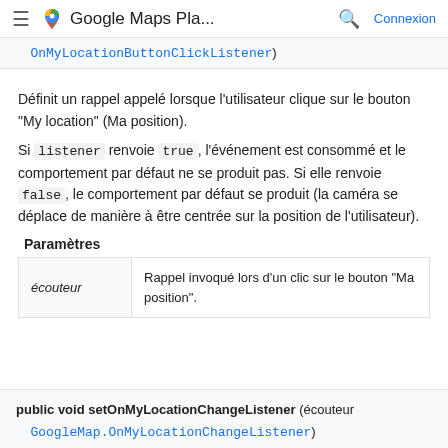Google Maps Pla...   Connexion
OnMyLocationButtonClickListener)
Définit un rappel appelé lorsque l'utilisateur clique sur le bouton "My location" (Ma position).
Si listener renvoie true, l'événement est consommé et le comportement par défaut ne se produit pas. Si elle renvoie false, le comportement par défaut se produit (la caméra se déplace de manière à être centrée sur la position de l'utilisateur).
Paramètres
|  |  |
| --- | --- |
| écouteur | Rappel invoqué lors d'un clic sur le bouton "Ma position". |
public void setOnMyLocationChangeListener (écouteur GoogleMap.OnMyLocationChangeListener)